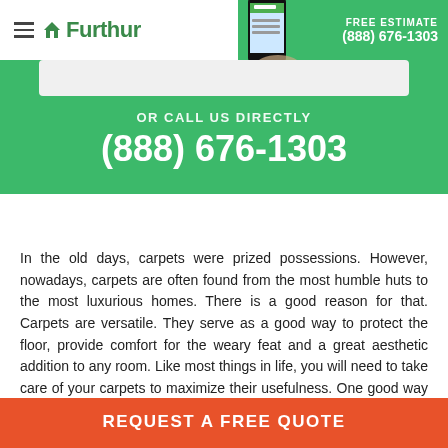Furthur — FREE ESTIMATE (888) 676-1303
OR CALL US DIRECTLY
(888) 676-1303
In the old days, carpets were prized possessions. However, nowadays, carpets are often found from the most humble huts to the most luxurious homes. There is a good reason for that. Carpets are versatile. They serve as a good way to protect the floor, provide comfort for the weary feat and a great aesthetic addition to any room. Like most things in life, you will need to take care of your carpets to maximize their usefulness. One good way of caring for your carpet is to acquire a carpet stretching Sedona service from Furthur.
REQUEST A FREE QUOTE